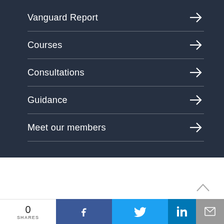Vanguard Report →
Courses →
Consultations →
Guidance →
Meet our members →
0 SHARES
[Figure (screenshot): Bottom social share bar with Facebook, Twitter, LinkedIn, and email buttons]